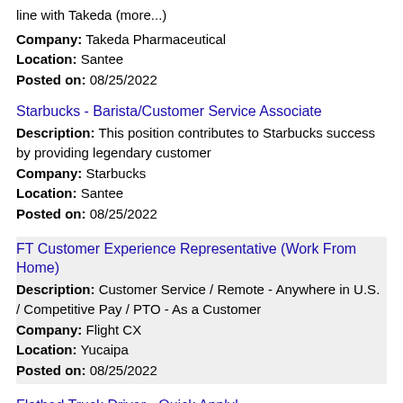line with Takeda (more...)
Company: Takeda Pharmaceutical
Location: Santee
Posted on: 08/25/2022
Starbucks - Barista/Customer Service Associate
Description: This position contributes to Starbucks success by providing legendary customer
Company: Starbucks
Location: Santee
Posted on: 08/25/2022
FT Customer Experience Representative (Work From Home)
Description: Customer Service / Remote - Anywhere in U.S. / Competitive Pay / PTO - As a Customer
Company: Flight CX
Location: Yucaipa
Posted on: 08/25/2022
Flatbed Truck Driver - Quick Apply!
Description: Hiring CDL Flatbed drivers in Yucaipa, CA. Apply once and choose a trucking job that works for you. Get home when you want to, and get paid what you deserve br Available Trucking Jobs: